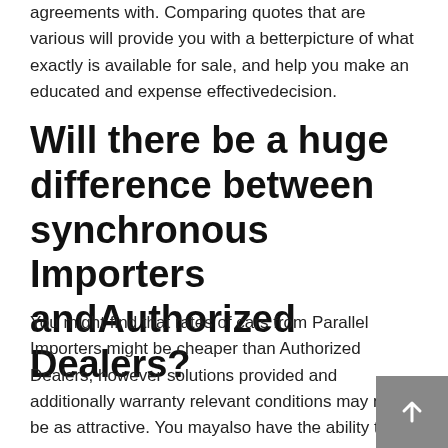agreements with. Comparing quotes that are various will provide you with a betterpicture of what exactly is available for sale, and help you make an educated and expense effectivedecision.
Will there be a huge difference between synchronous Importers andAuthorized Dealers?
You might find that rates of cars from Parallel Importers might be cheaper than Authorized Dealers, however solutions provided and additionally warranty relevant conditions may never be as attractive. You mayalso have the ability to get your